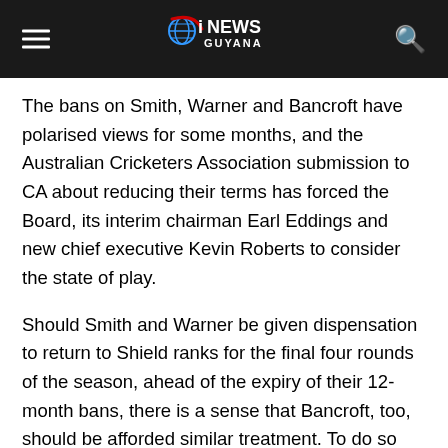iNEWS GUYANA
The bans on Smith, Warner and Bancroft have polarised views for some months, and the Australian Cricketers Association submission to CA about reducing their terms has forced the Board, its interim chairman Earl Eddings and new chief executive Kevin Roberts to consider the state of play.
Should Smith and Warner be given dispensation to return to Shield ranks for the final four rounds of the season, ahead of the expiry of their 12-month bans, there is a sense that Bancroft, too, should be afforded similar treatment. To do so would require him to be made available for the next two rounds of Shield matches, meaning a decision either way would need to be reached this week.
Nathan Lyon expressed hope that the trio would be allowed to